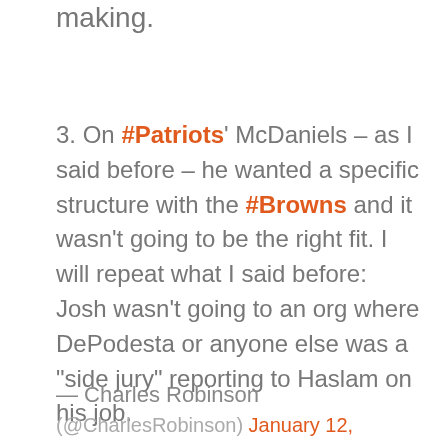making.
3. On #Patriots' McDaniels – as I said before – he wanted a specific structure with the #Browns and it wasn't going to be the right fit. I will repeat what I said before: Josh wasn't going to an org where DePodesta or anyone else was a "side jury" reporting to Haslam on his job.
— Charles Robinson
(@CharlesRobinson) January 12,